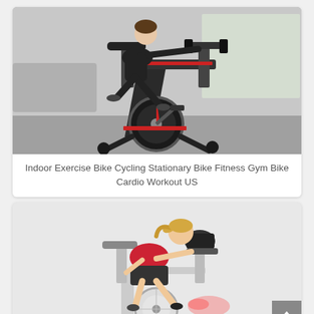[Figure (photo): A person riding a black and red stationary indoor exercise/spinning bike in a room setting]
Indoor Exercise Bike Cycling Stationary Bike Fitness Gym Bike Cardio Workout US
[Figure (photo): A woman in a red top and black shorts riding a white and grey stationary exercise bike, with a pink light beam visible near the bike console]